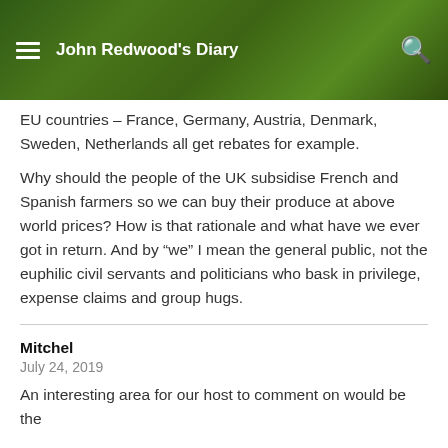John Redwood's Diary
EU countries – France, Germany, Austria, Denmark, Sweden, Netherlands all get rebates for example.
Why should the people of the UK subsidise French and Spanish farmers so we can buy their produce at above world prices? How is that rationale and what have we ever got in return. And by “we” I mean the general public, not the euphilic civil servants and politicians who bask in privilege, expense claims and group hugs.
Mitchel
July 24, 2019
An interesting area for our host to comment on would be the